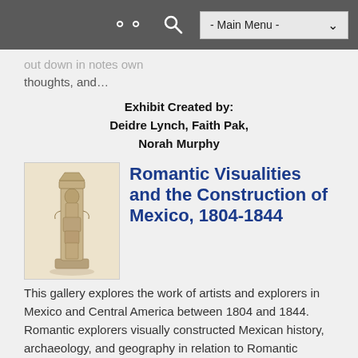- Main Menu -
out down in notes own thoughts, and…
Exhibit Created by:
Deidre Lynch, Faith Pak,
Norah Murphy
[Figure (illustration): Sketch of a tall stone totem or monument with carved figures, standing on a pedestal]
Romantic Visualities and the Construction of Mexico, 1804-1844
This gallery explores the work of artists and explorers in Mexico and Central America between 1804 and 1844. Romantic explorers visually constructed Mexican history, archaeology, and geography in relation to Romantic